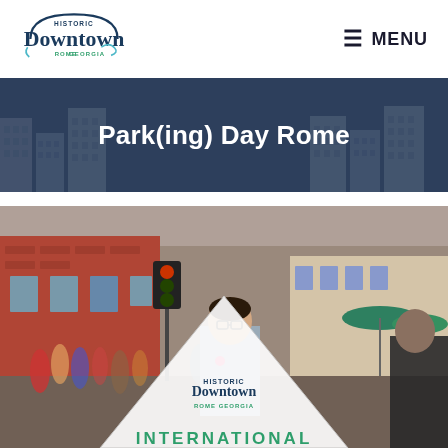Historic Downtown Rome Georgia | ☰ MENU
Park(ing) Day Rome
[Figure (photo): Outdoor street scene in downtown Rome Georgia. A young man in a gray t-shirt stands in the foreground holding a triangular Historic Downtown Rome Georgia sign. People mill about on the closed street behind him. Brick buildings, trees, green umbrellas visible. Bottom of the photo shows the word INTERNATIONAL in green text.]